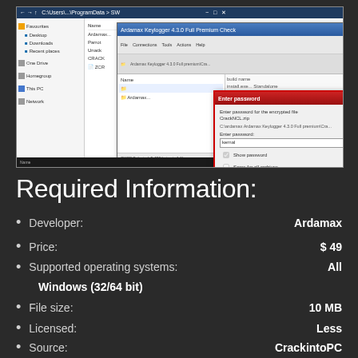[Figure (screenshot): Screenshot of Windows showing Ardamax Keylogger application with a password entry dialog box open]
Required Information:
Developer:    Ardamax
Price:    $ 49
Supported operating systems:    All
Windows (32/64 bit)
File size:    10 MB
Licensed:    Less
Source:    CrackintoPC